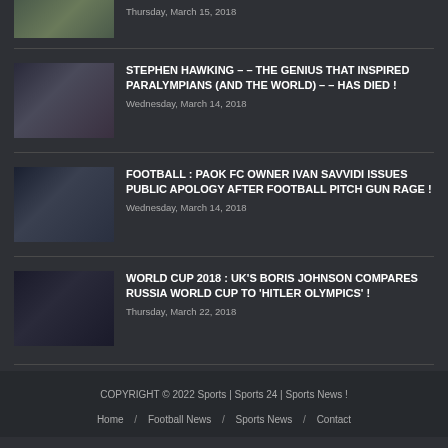[Figure (photo): Partial news thumbnail at top, cropped]
Thursday, March 15, 2018
[Figure (photo): Photo of Stephen Hawking]
STEPHEN HAWKING – – THE GENIUS THAT INSPIRED PARALYMPIANS (AND THE WORLD) – – HAS DIED !
Wednesday, March 14, 2018
[Figure (photo): Football pitch scene with man in dark jacket]
FOOTBALL : PAOK FC OWNER IVAN SAVVIDI ISSUES PUBLIC APOLOGY AFTER FOOTBALL PITCH GUN RAGE !
Wednesday, March 14, 2018
[Figure (photo): Boris Johnson at a hearing]
WORLD CUP 2018 : UK'S BORIS JOHNSON COMPARES RUSSIA WORLD CUP TO 'HITLER OLYMPICS' !
Thursday, March 22, 2018
COPYRIGHT © 2022 Sports | Sports 24 | Sports News !
Home / Football News / Sports News / Contact